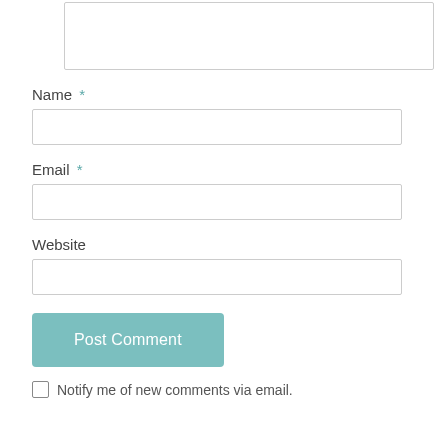[Figure (screenshot): A comment form textarea (empty, resizable) at the top of the page.]
Name *
[Figure (screenshot): Empty text input field for Name.]
Email *
[Figure (screenshot): Empty text input field for Email.]
Website
[Figure (screenshot): Empty text input field for Website.]
[Figure (screenshot): Post Comment button in teal/light blue color.]
Notify me of new comments via email.